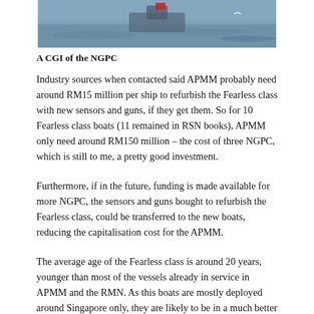[Figure (photo): A CGI image of the NGPC vessel on water, partially cropped at the top of the page]
A CGI of the NGPC
Industry sources when contacted said APMM probably need around RM15 million per ship to refurbish the Fearless class with new sensors and guns, if they get them. So for 10 Fearless class boats (11 remained in RSN books), APMM only need around RM150 million – the cost of three NGPC, which is still to me, a pretty good investment.
Furthermore, if in the future, funding is made available for more NGPC, the sensors and guns bought to refurbish the Fearless class, could be transferred to the new boats, reducing the capitalisation cost for the APMM.
The average age of the Fearless class is around 20 years, younger than most of the vessels already in service in APMM and the RMN. As this boats are mostly deployed around Singapore only, they are likely to be in a much better condition than the average South-East-Asian navy vessels.